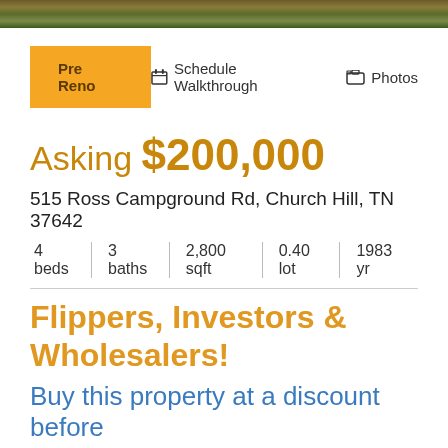[Figure (photo): Top banner image showing outdoor wooded/natural landscape background]
Pre Reno
Schedule Walkthrough   Photos
Asking $200,000
515 Ross Campground Rd, Church Hill, TN 37642
4 beds | 3 baths | 2,800 sqft | 0.40 lot | 1983 yr
Flippers, Investors & Wholesalers!
Buy this property at a discount before we flip it. The price goes up after we